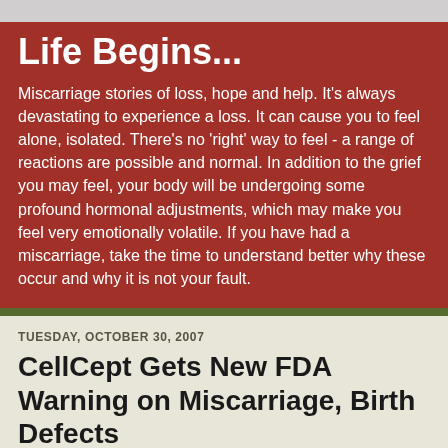Life Begins...
Miscarriage stories of loss, hope and help. It's always devastating to experience a loss. It can cause you to feel alone, isolated. There's no 'right' way to feel - a range of reactions are possible and normal. In addition to the grief you may feel, your body will be undergoing some profound hormonal adjustments, which may make you feel very emotionally volatile. If you have had a miscarriage, take the time to understand better why these occur and why it is not your fault.
TUESDAY, OCTOBER 30, 2007
CellCept Gets New FDA Warning on Miscarriage, Birth Defects
CellCept, a drug used to prevent organ rejection after a